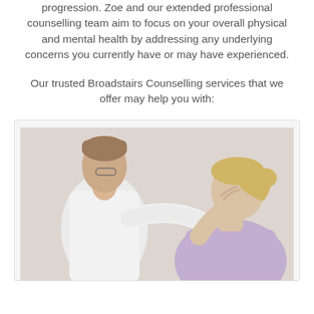progression. Zoe and our extended professional counselling team aim to focus on your overall physical and mental health by addressing any underlying concerns you currently have or may have experienced.
Our trusted Broadstairs Counselling services that we offer may help you with:
[Figure (photo): A doctor in a white coat placing a reassuring hand on the shoulder of a distressed young woman with blonde hair who is holding her head in her hand, suggesting a counselling or medical consultation scene.]